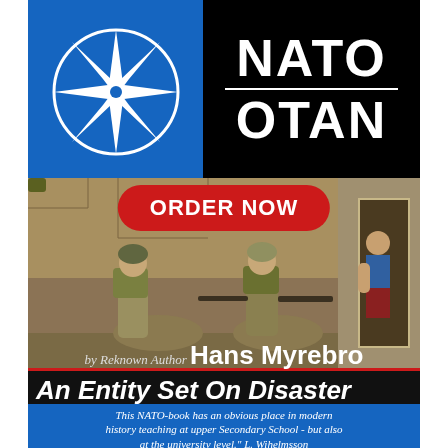[Figure (logo): NATO/OTAN logo with blue background on left showing NATO compass star emblem, and black background on right with NATO and OTAN text in white bold letters separated by a horizontal line]
[Figure (photo): Two soldiers in desert camouflage crouching near a wall with weapons, and a child in a blue and red outfit peeking around a doorway in the background]
ORDER NOW
by Reknown Author Hans Myrebro
An Entity Set On Disaster
This NATO-book has an obvious place in modern history teaching at upper Secondary School - but also at the university level." L. Wihelmsson